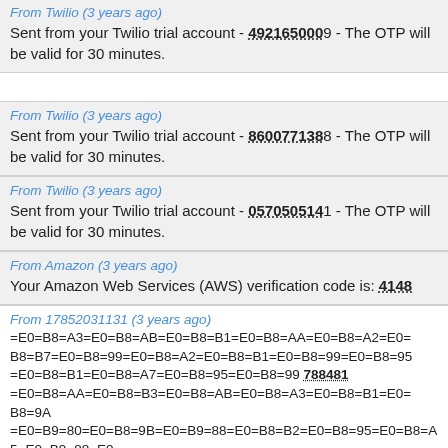From Twilio (3 years ago)
Sent from your Twilio trial account - 4921650009 - The OTP will be valid for 30 minutes.
From Twilio (3 years ago)
Sent from your Twilio trial account - 8600771388 - The OTP will be valid for 30 minutes.
From Twilio (3 years ago)
Sent from your Twilio trial account - 0570505141 - The OTP will be valid for 30 minutes.
From Amazon (3 years ago)
Your Amazon Web Services (AWS) verification code is: 4148
From 17852031131 (3 years ago)
=E0=B8=A3=E0=B8=AB=E0=B8=B1=E0=B8=AA=E0=B8=A2=E0=B8=B7=E0=B8=99=E0=B8=A2=E0=B8=B1=E0=B8=99=E0=B8=95=E0=B8=B1=E0=B8=A7=E0=B8=95=E0=B8=99 788481 =E0=B8=AA=E0=B8=B3=E0=B8=AB=E0=B8=A3=E0=B8=B1=E0=B8=9A=E0=B8=8A=E0=B8=B8=E0=B8=A3=E0=B8=81=E0=B8=B4=E0=B9=80=E0=B8=9B=E0=B9=88=E0=B8=B2=E0=B9=88=E0=B8=95=E0=B8=A5=E0=B9=88=E0=B8=AD=E0=B9=88=E0=B8=99=E0=B8=B5=E0=B9=89=E0=B8=A3=E0=B8=B5=E0=B9=88=E0=B8=A7=E0=B8=81=E0=B9=82=E0=B8=9E=E0=B8=A5=E0=B9=8C=E0=B8=A5=E0=B9=8C